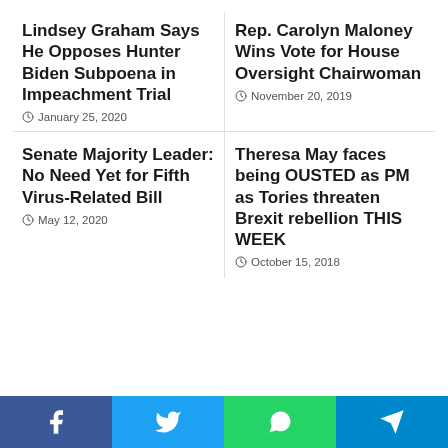Lindsey Graham Says He Opposes Hunter Biden Subpoena in Impeachment Trial
January 25, 2020
Rep. Carolyn Maloney Wins Vote for House Oversight Chairwoman
November 20, 2019
Senate Majority Leader: No Need Yet for Fifth Virus-Related Bill
May 12, 2020
Theresa May faces being OUSTED as PM as Tories threaten Brexit rebellion THIS WEEK
October 15, 2018